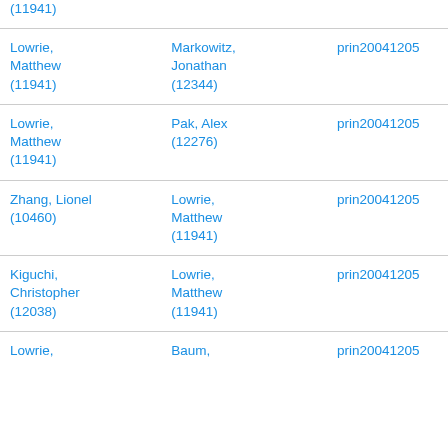| (11941) |  |  |
| Lowrie, Matthew (11941) | Markowitz, Jonathan (12344) | prin20041205 |
| Lowrie, Matthew (11941) | Pak, Alex (12276) | prin20041205 |
| Zhang, Lionel (10460) | Lowrie, Matthew (11941) | prin20041205 |
| Kiguchi, Christopher (12038) | Lowrie, Matthew (11941) | prin20041205 |
| Lowrie, | Baum, | prin20041205 |